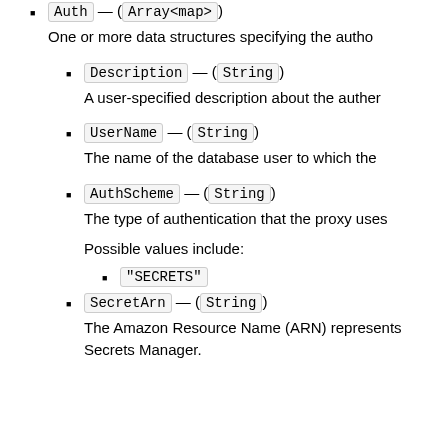Auth — (Array<map>)
One or more data structures specifying the autho
Description — (String)
A user-specified description about the auther
UserName — (String)
The name of the database user to which the
AuthScheme — (String)
The type of authentication that the proxy uses
Possible values include:
"SECRETS"
SecretArn — (String)
The Amazon Resource Name (ARN) represents Secrets Manager.